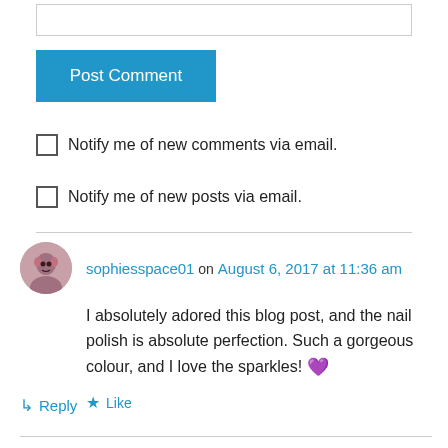Notify me of new comments via email.
Notify me of new posts via email.
sophiesspace01 on August 6, 2017 at 11:36 am
I absolutely adored this blog post, and the nail polish is absolute perfection. Such a gorgeous colour, and I love the sparkles! 💜
Like
Reply